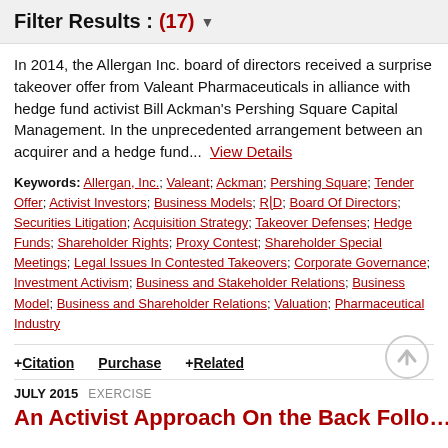Filter Results : (17) ▾
In 2014, the Allergan Inc. board of directors received a surprise takeover offer from Valeant Pharmaceuticals in alliance with hedge fund activist Bill Ackman's Pershing Square Capital Management. In the unprecedented arrangement between an acquirer and a hedge fund...  View Details
Keywords: Allergan, Inc.; Valeant; Ackman; Pershing Square; Tender Offer; Activist Investors; Business Models; R&D; Board Of Directors; Securities Litigation; Acquisition Strategy; Takeover Defenses; Hedge Funds; Shareholder Rights; Proxy Contest; Shareholder Special Meetings; Legal Issues In Contested Takeovers; Corporate Governance; Investment Activism; Business and Stakeholder Relations; Business Model; Business and Shareholder Relations; Valuation; Pharmaceutical Industry
+ Citation   Purchase   + Related
JULY 2015  EXERCISE
An Activist Approach On the Back Follow...